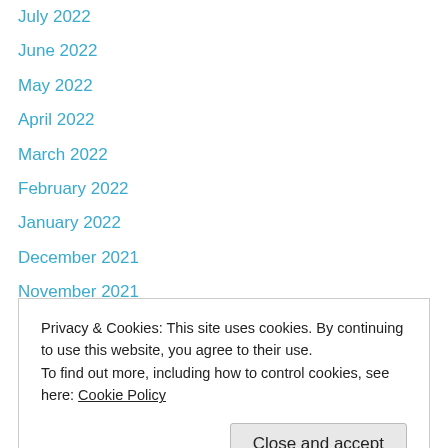July 2022
June 2022
May 2022
April 2022
March 2022
February 2022
January 2022
December 2021
November 2021
October 2021
September 2021
August 2021
July 2021
Privacy & Cookies: This site uses cookies. By continuing to use this website, you agree to their use. To find out more, including how to control cookies, see here: Cookie Policy
December 2020